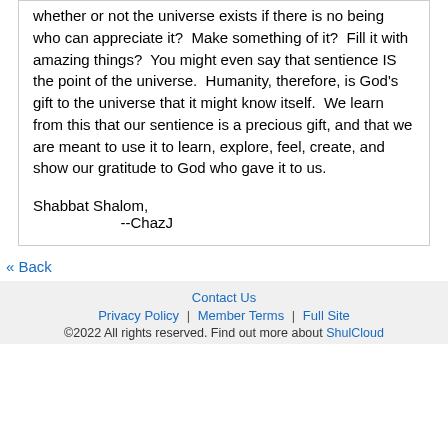whether or not the universe exists if there is no being who can appreciate it?  Make something of it?  Fill it with amazing things?  You might even say that sentience IS the point of the universe.  Humanity, therefore, is God's gift to the universe that it might know itself.  We learn from this that our sentience is a precious gift, and that we are meant to use it to learn, explore, feel, create, and show our gratitude to God who gave it to us.
Shabbat Shalom,
        --ChazJ
« Back
Contact Us | Privacy Policy | Member Terms | Full Site | ©2022 All rights reserved. Find out more about ShulCloud